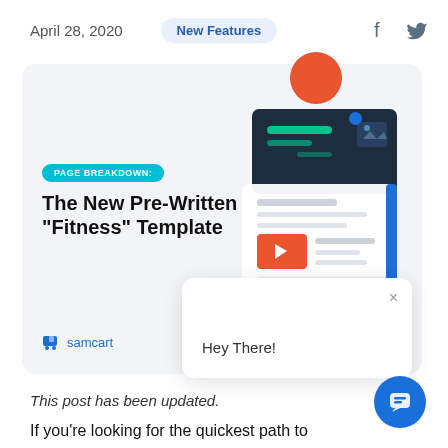April 28, 2020  New Features
[Figure (illustration): Blog post card for SamCart featuring 'PAGE BREAKDOWN: The New Pre-Written "Fitness" Template' with a UI mockup illustration, an orange circle accent, blue dot, decorative elements, and a 'Hey There!' chat widget popup in the lower right. The samcart logo appears at the bottom left of the card. A blue chat support orb appears bottom right.]
This post has been updated.
If you're looking for the quickest path to